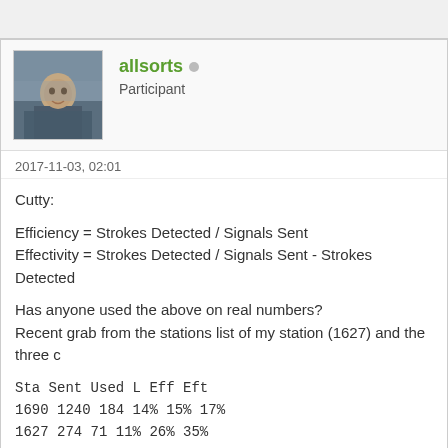[Figure (photo): Avatar photo of forum user 'allsorts' - a man sitting outdoors]
allsorts • Participant
2017-11-03, 02:01
Cutty:
Efficiency = Strokes Detected / Signals Sent
Effectivity = Strokes Detected / Signals Sent - Strokes Detected
Has anyone used the above on real numbers?
Recent grab from the stations list of my station (1627) and the three c
Sta Sent Used L Eff Eft
1690 1240 184 14% 15% 17%
1627 274 71 11% 26% 35%
1645 1714 180 10% 11% 12%
1620 1395 140 10% 10% 11%